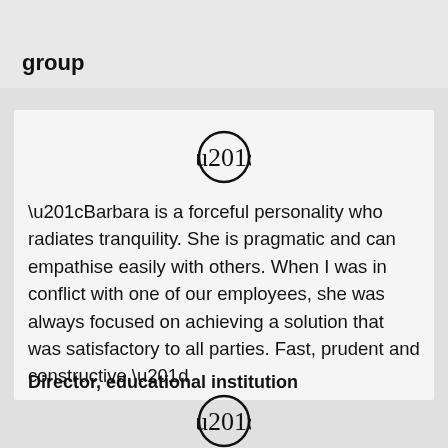Employee of an academic publishing group
“Barbara is a forceful personality who radiates tranquility. She is pragmatic and can empathise easily with others. When I was in conflict with one of our employees, she was always focused on achieving a solution that was satisfactory to all parties. Fast, prudent and constructive.”
Director, educational institution